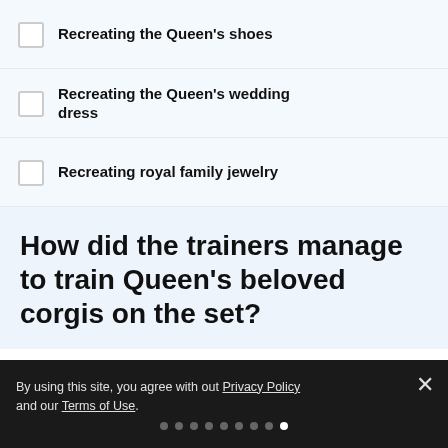Recreating the Queen's shoes
Recreating the Queen's wedding dress
Recreating royal family jewelry
How did the trainers manage to train Queen's beloved corgis on the set?
By using this site, you agree with out Privacy Policy and our Terms of Use.